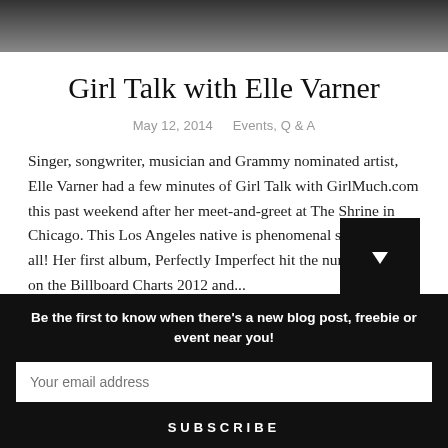[Figure (photo): Dark photo strip showing partial image of people at the top of the page]
Girl Talk with Elle Varner
May 12, 2014   Events, Q & A
Singer, songwriter, musician and Grammy nominated artist, Elle Varner had a few minutes of Girl Talk with GirlMuch.com this past weekend after her meet-and-greet at The Shrine in Chicago. This Los Angeles native is phenomenal she does it all! Her first album, Perfectly Imperfect hit the number 4 spot on the Billboard Charts 2012 and...
Be the first to know when there's a new blog post, freebie or event near you!
Your email address
SUBSCRIBE